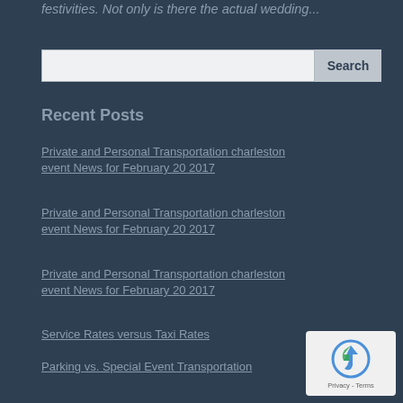festivities. Not only is there the actual wedding...
Search
Recent Posts
Private and Personal Transportation charleston event News for February 20 2017
Private and Personal Transportation charleston event News for February 20 2017
Private and Personal Transportation charleston event News for February 20 2017
Service Rates versus Taxi Rates
Parking vs. Special Event Transportation
[Figure (other): reCAPTCHA badge with logo and Privacy - Terms text]